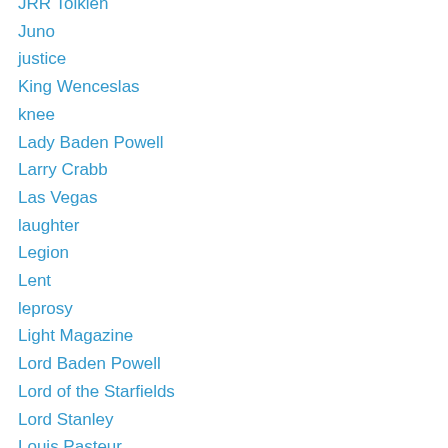JRR Tolkien
Juno
justice
King Wenceslas
knee
Lady Baden Powell
Larry Crabb
Las Vegas
laughter
Legion
Lent
leprosy
Light Magazine
Lord Baden Powell
Lord of the Starfields
Lord Stanley
Louis Pasteur
Louis Riel
Love
manger